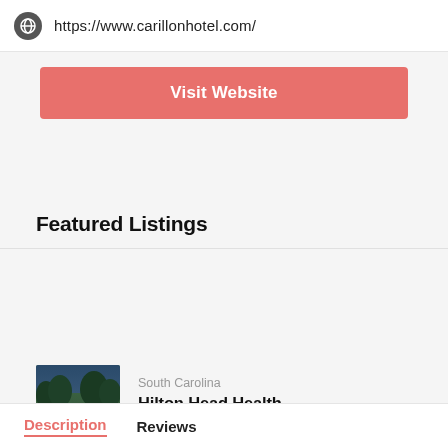https://www.carillonhotel.com/
Visit Website
Featured Listings
South Carolina
Hilton Head Health
[Figure (photo): Thumbnail photo of Hilton Head Health property exterior at dusk with trees and warm lighting]
Description
Reviews